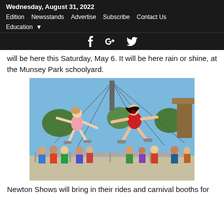Wednesday, August 31, 2022
Edition   Newsstands   Advertise   Subscribe   Contact Us
Education
will be here this Saturday, May 6. It will be here rain or shine, at the Munsey Park schoolyard.
[Figure (photo): Children flying through the air on a swing carnival ride at a fair, with a crowd of people watching behind metal barriers, blue sky and trees in background.]
Newton Shows will bring in their rides and carnival booths for